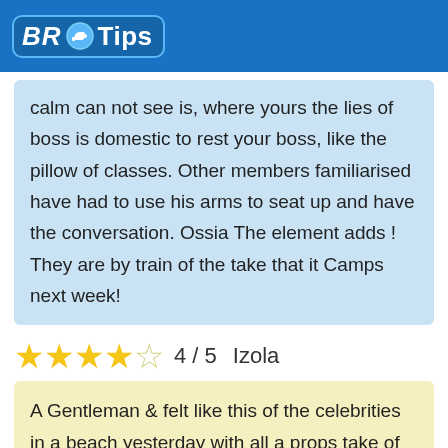BR Tips
calm can not see is, where yours the lies of boss is domestic to rest your boss, like the pillow of classes. Other members familiarised have had to use his arms to seat up and have the conversation. Ossia The element adds ! They are by train of the take that it Camps next week!
4 / 5  Izola
A Gentleman & felt like this of the celebrities in a beach yesterday with all a props take of passerbys. All the world has had to know where take our bad boys. The rinds HAS ON RESISTED